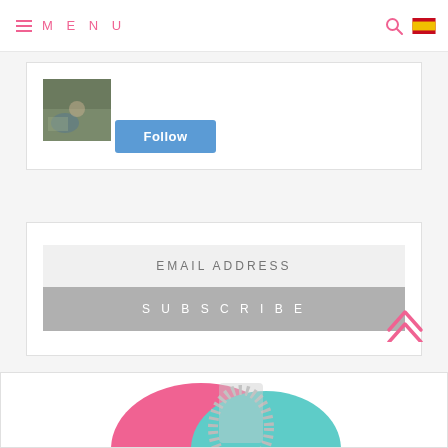MENU
[Figure (photo): Small thumbnail photo of a child outdoors on rocks]
Follow
EMAIL ADDRESS
SUBSCRIBE
[Figure (illustration): Back to top double chevron arrow icon in pink]
[Figure (illustration): Partial circular decorative illustration with pink, teal, and grey dotted elements at bottom of page]